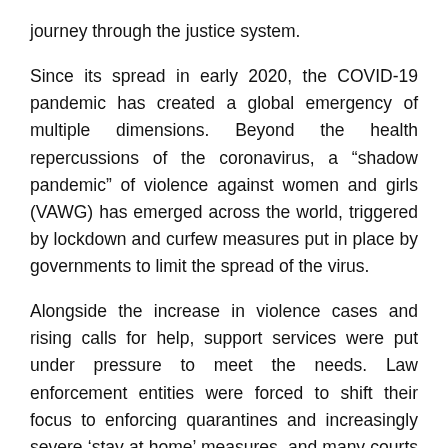journey through the justice system.
Since its spread in early 2020, the COVID-19 pandemic has created a global emergency of multiple dimensions. Beyond the health repercussions of the coronavirus, a “shadow pandemic” of violence against women and girls (VAWG) has emerged across the world, triggered by lockdown and curfew measures put in place by governments to limit the spread of the virus.
Alongside the increase in violence cases and rising calls for help, support services were put under pressure to meet the needs. Law enforcement entities were forced to shift their focus to enforcing quarantines and increasingly severe ‘stay at home’ measures, and many courts have had to close